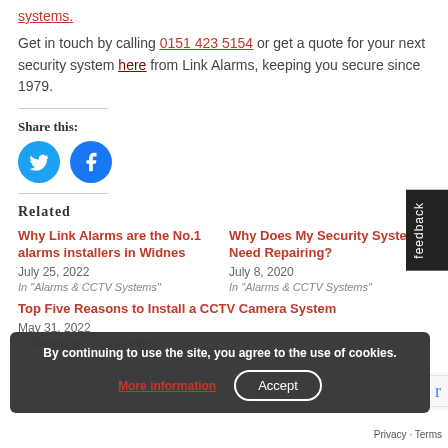systems.
Get in touch by calling 0151 423 5154 or get a quote for your next security system here from Link Alarms, keeping you secure since 1979.
Share this:
[Figure (illustration): Twitter and Facebook social sharing icons (circular blue buttons)]
Related
Why Link Alarms are the No.1 alarms installers in Widnes
July 25, 2022
In "Alarms & CCTV Systems"
Why Does My Security System Need Repairing?
July 8, 2020
In "Alarms & CCTV Systems"
Top Five Reasons to Install a CCTV Camera System
May 31, 2022
In "Alarms & CCTV Systems"
By continuing to use the site, you agree to the use of cookies.
More information
Accept
Privacy · Terms